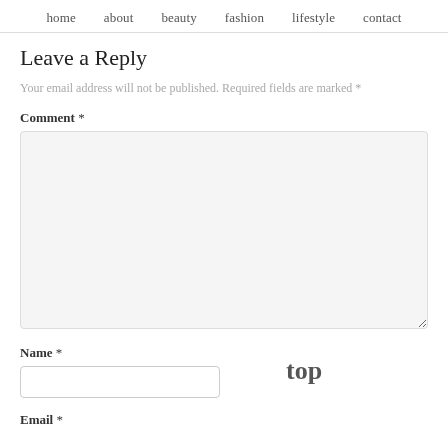home   about   beauty  fashion  lifestyle  contact
Leave a Reply
Your email address will not be published. Required fields are marked *
Comment *
Name *
top
Email *